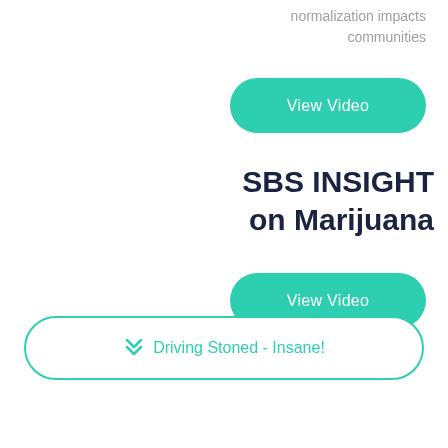normalization impacts communities
[Figure (other): Green rounded button with white text 'View Video']
SBS INSIGHT on Marijuana
[Figure (other): Green rounded button with white text 'View Video']
❮❮ Driving Stoned - Insane!